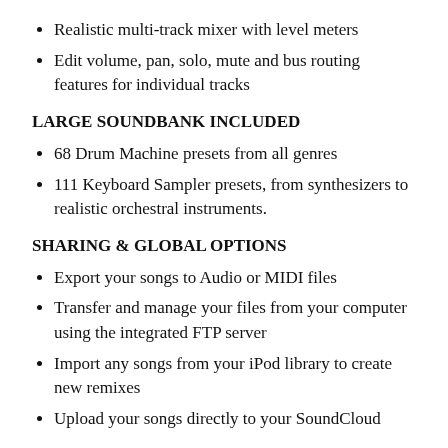Realistic multi-track mixer with level meters
Edit volume, pan, solo, mute and bus routing features for individual tracks
LARGE SOUNDBANK INCLUDED
68 Drum Machine presets from all genres
111 Keyboard Sampler presets, from synthesizers to realistic orchestral instruments.
SHARING & GLOBAL OPTIONS
Export your songs to Audio or MIDI files
Transfer and manage your files from your computer using the integrated FTP server
Import any songs from your iPod library to create new remixes
Upload your songs directly to your SoundCloud